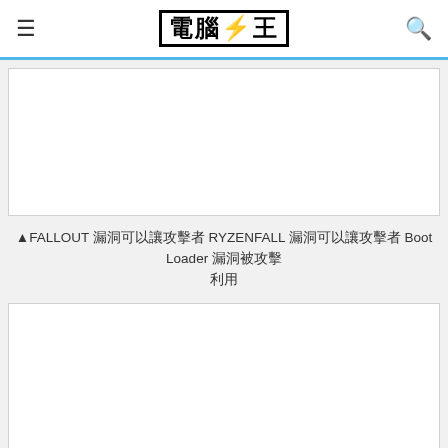電腦王
[Figure (other): Advertisement placeholder box (white rectangle with border)]
▲FALLOUT 漏洞可以讓攻擊者 RYZENFALL 漏洞可以讓攻擊者 Boot Loader 漏洞被攻擊
[Figure (other): Advertisement placeholder box (white rectangle with border)]